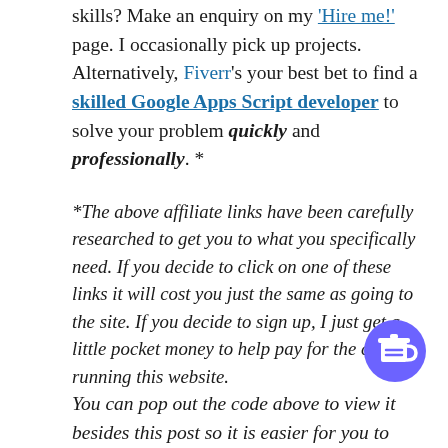skills? Make an enquiry on my 'Hire me!' page. I occasionally pick up projects. Alternatively, Fiverr's your best bet to find a skilled Google Apps Script developer to solve your problem quickly and professionally. *
*The above affiliate links have been carefully researched to get you to what you specifically need. If you decide to click on one of these links it will cost you just the same as going to the site. If you decide to sign up, I just get a little pocket money to help pay for the costs of running this website.
[Figure (illustration): Purple circular button with a coffee cup icon]
You can pop out the code above to view it besides this post so it is easier for you to follow along